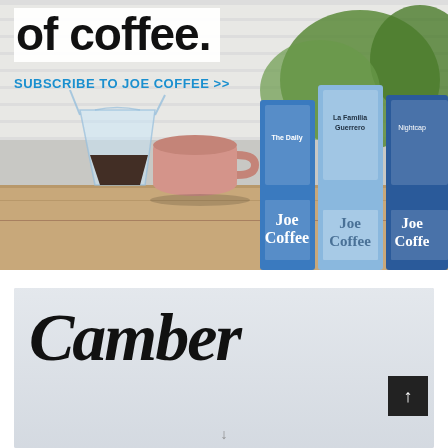[Figure (photo): Joe Coffee product photo showing three blue coffee bags (The Daily, La Familia Guerrero, Nightcap) next to a glass pour-over carafe and a pink mug on a wooden surface with white brick wall and green plants in background. Overlaid with large bold headline 'of coffee.' and cyan 'SUBSCRIBE TO JOE COFFEE >>' link.]
of coffee.
SUBSCRIBE TO JOE COFFEE >>
[Figure (photo): Light gray/white background with the word 'Camber' in large elegant black script/cursive font, with a dark scroll-to-top button in the lower right corner showing an upward arrow, and a small downward arrow at the bottom center.]